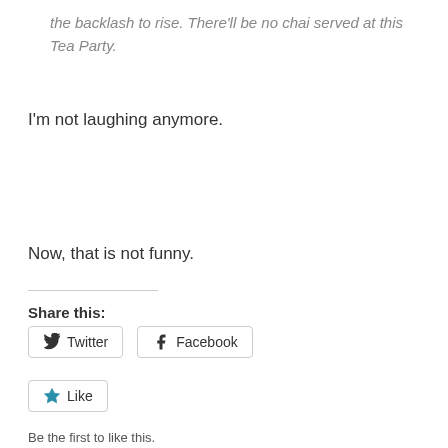the backlash to rise. There'll be no chai served at this Tea Party.
I'm not laughing anymore.
Now, that is not funny.
Share this:
Twitter
Facebook
Like
Be the first to like this.